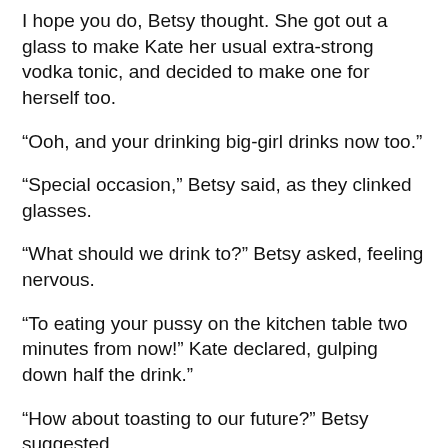I hope you do, Betsy thought. She got out a glass to make Kate her usual extra-strong vodka tonic, and decided to make one for herself too.
“Ooh, and your drinking big-girl drinks now too.”
“Special occasion,” Betsy said, as they clinked glasses.
“What should we drink to?” Betsy asked, feeling nervous.
“To eating your pussy on the kitchen table two minutes from now!” Kate declared, gulping down half the drink.”
“How about toasting to our future?” Betsy suggested.
“I was toasting to our future,” Kate said, kissing Betsy’s neck and shoulders.  “Our near-term future.”
Betsy took evasive action until there was air between them